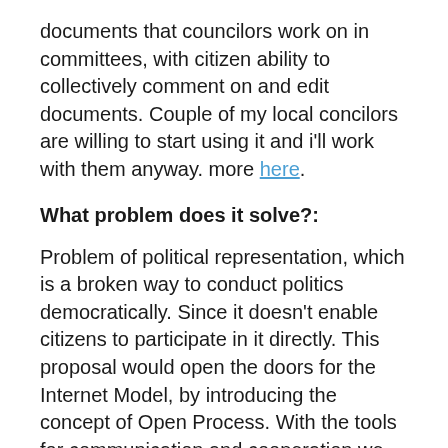documents that councilors work on in committees, with citizen ability to collectively comment on and edit documents. Couple of my local concilors are willing to start using it and i'll work with them anyway. more here.
What problem does it solve?:
Problem of political representation, which is a broken way to conduct politics democratically. Since it doesn't enable citizens to participate in it directly. This proposal would open the doors for the Internet Model, by introducing the concept of Open Process. With the tools for communication and cooperation we have available, our current political models are a problem in itself. They have been designed centuries ago and are quite inappropriate today. We can do far better. Example proposal of Open Process in academic publishing.